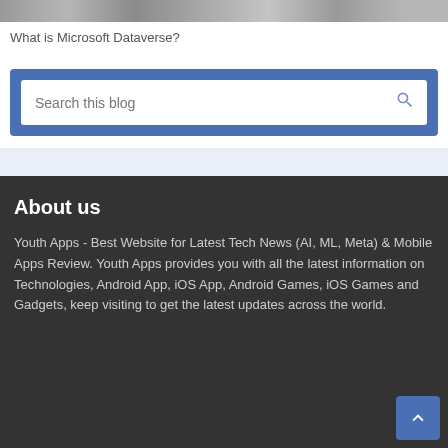[Figure (screenshot): Blurred/redacted navigation bar at the top of the page]
What is Microsoft Dataverse?
[Figure (screenshot): Search box with placeholder text 'Search this blog' and a search icon, contained in a blue bordered widget]
About us
Youth Apps - Best Website for Latest Tech News (AI, ML, Meta) & Mobile Apps Review. Youth Apps provides you with all the latest information on Technologies, Android App, iOS App, Android Games, iOS Games and Gadgets, keep visiting to get the latest updates across the world.